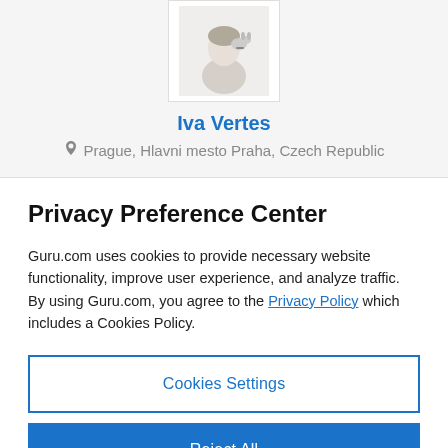[Figure (photo): Profile photo of Iva Vertes, showing a person with a small animal, displayed in a white bordered box]
Iva Vertes
Prague, Hlavni mesto Praha, Czech Republic
Privacy Preference Center
Guru.com uses cookies to provide necessary website functionality, improve user experience, and analyze traffic. By using Guru.com, you agree to the Privacy Policy which includes a Cookies Policy.
Cookies Settings
Reject All
Accept All Cookies